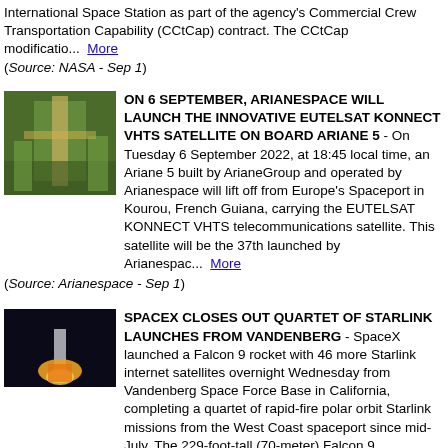International Space Station as part of the agency's Commercial Crew Transportation Capability (CCtCap) contract. The CCtCap modificatio...  More
(Source: NASA - Sep 1)
[Figure (photo): Photo of a rocket or spacecraft in a green-lit industrial facility, likely a launch preparation area]
ON 6 SEPTEMBER, ARIANESPACE WILL LAUNCH THE INNOVATIVE EUTELSAT KONNECT VHTS SATELLITE ON BOARD ARIANE 5 - On Tuesday 6 September 2022, at 18:45 local time, an Ariane 5 built by ArianeGroup and operated by Arianespace will lift off from Europe's Spaceport in Kourou, French Guiana, carrying the EUTELSAT KONNECT VHTS telecommunications satellite. This satellite will be the 37th launched by Arianespac...  More
(Source: Arianespace - Sep 1)
[Figure (photo): Night photo of a rocket launch, bright flame visible against dark sky]
SPACEX CLOSES OUT QUARTET OF STARLINK LAUNCHES FROM VANDENBERG - SpaceX launched a Falcon 9 rocket with 46 more Starlink internet satellites overnight Wednesday from Vandenberg Space Force Base in California, completing a quartet of rapid-fire polar orbit Starlink missions from the West Coast spaceport since mid-July. The 229-foot-tall (70-meter) Falcon 9 rock...  More
(Source: SpaceFlight Now - Sep 1)
[Figure (photo): Dark photo, partially visible at bottom of page]